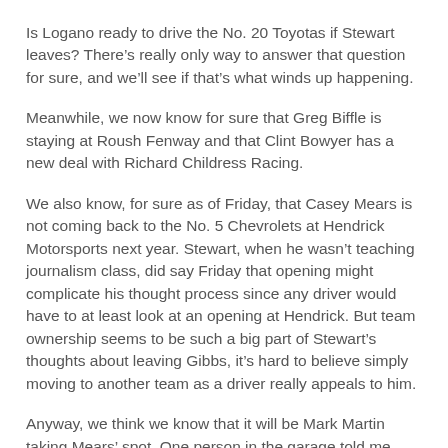Is Logano ready to drive the No. 20 Toyotas if Stewart leaves? There's really only way to answer that question for sure, and we'll see if that's what winds up happening.
Meanwhile, we now know for sure that Greg Biffle is staying at Roush Fenway and that Clint Bowyer has a new deal with Richard Childress Racing.
We also know, for sure as of Friday, that Casey Mears is not coming back to the No. 5 Chevrolets at Hendrick Motorsports next year. Stewart, when he wasn't teaching journalism class, did say Friday that opening might complicate his thought process since any driver would have to at least look at an opening at Hendrick. But team ownership seems to be such a big part of Stewart's thoughts about leaving Gibbs, it's hard to believe simply moving to another team as a driver really appeals to him.
Anyway, we think we know that it will be Mark Martin taking Mears' spot. One person in the garage told me Friday that Martin had offers to run a full schedule in 2009 for as many